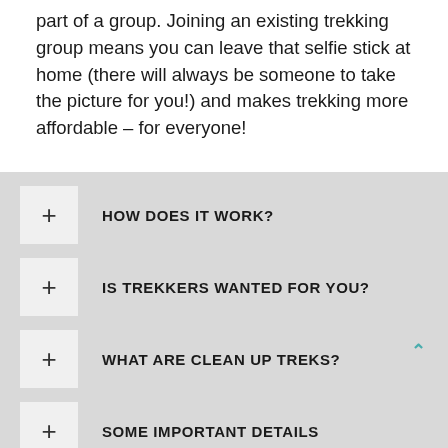part of a group. Joining an existing trekking group means you can leave that selfie stick at home (there will always be someone to take the picture for you!) and makes trekking more affordable – for everyone!
HOW DOES IT WORK?
IS TREKKERS WANTED FOR YOU?
WHAT ARE CLEAN UP TREKS?
SOME IMPORTANT DETAILS